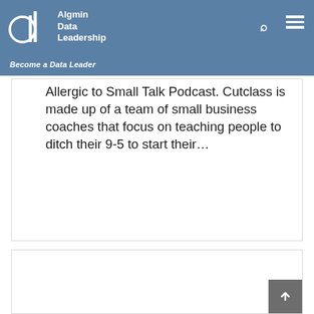Algmin Data Leadership — Become a Data Leader
Allergic to Small Talk Podcast. Cutclass is made up of a team of small business coaches that focus on teaching people to ditch their 9-5 to start their…
[Figure (other): Empty card / content block below main text card]